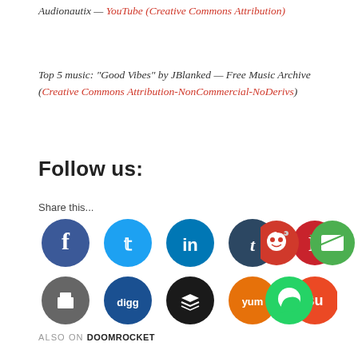Audionautix — YouTube (Creative Commons Attribution)
Top 5 music: “Good Vibes” by JBlanked — Free Music Archive (Creative Commons Attribution-NonCommercial-NoDerivs)
Follow us:
Share this...
[Figure (infographic): Two rows of social media share buttons: Row 1: Facebook (dark blue), Twitter (light blue), LinkedIn (blue), Tumblr (dark navy), Pinterest (red), Reddit (orange-red), Email (green). Row 2: Print (gray), Digg (dark blue), Buffer/layers (black), Yummly (orange), StumbleUpon (orange-red), WhatsApp (green).]
ALSO ON DOOMROCKET